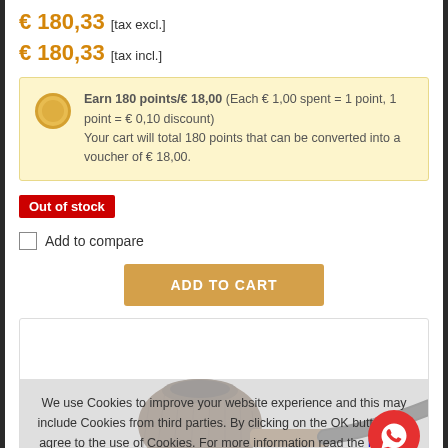€ 180,33 [tax excl.]
€ 180,33 [tax incl.]
Earn 180 points/€ 18,00 (Each € 1,00 spent = 1 point, 1 point = € 0,10 discount) Your cart will total 180 points that can be converted into a voucher of € 18,00.
Out of stock
Add to compare
ADD TO CART
[Figure (photo): A rustic brown tobacco pipe with a textured bowl and black curved stem]
We use Cookies to improve your website experience and this may include Cookies from third parties. By clicking on the OK button you agree to the use of Cookies. For more information read the Privacy and the Privacy and Cookie Policy
OK